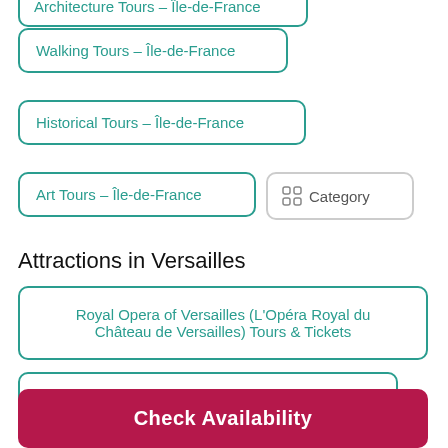Architecture Tours - Île-de-France
Walking Tours - Île-de-France
Historical Tours - Île-de-France
Art Tours - Île-de-France
Category
Attractions in Versailles
Royal Opera of Versailles (L'Opéra Royal du Château de Versailles) Tours & Tickets
Academy of Equestrian Arts Tours & Tickets
Check Availability